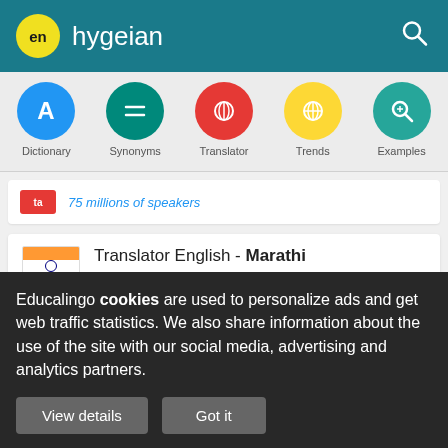en hygeian
[Figure (screenshot): Navigation bar with icons for Dictionary, Synonyms, Translator, Trends, Examples]
75 millions of speakers (partial, cut off at top)
Translator English - Marathi
हायजीन
75 millions of speakers
Educalingo cookies are used to personalize ads and get web traffic statistics. We also share information about the use of the site with our social media, advertising and analytics partners.
View details
Got it